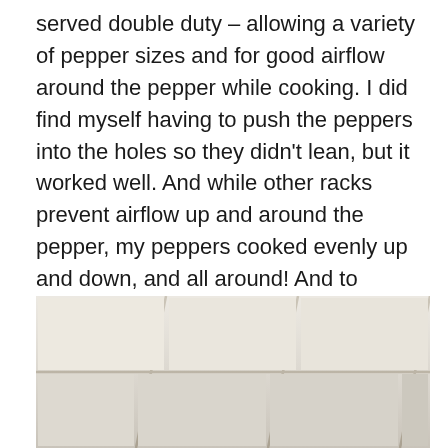served double duty – allowing a variety of pepper sizes and for good airflow around the pepper while cooking. I did find myself having to push the peppers into the holes so they didn't lean, but it worked well. And while other racks prevent airflow up and around the pepper, my peppers cooked evenly up and down, and all around! And to quote good ol' Ron Popeel, "But wait! There's more!", my kit came with the pepper coring tool! It made very quick work of coring the peppers! I was sad when they were all done! I was having too much fun and wanted to do more! The coring tool only adds $5.00 to the kit, well worth the little bit of extra money for the ease of use it brings to the table!
[Figure (photo): Photo of white/cream ceramic floor tiles with grout lines visible, shot at an angle from a low perspective.]